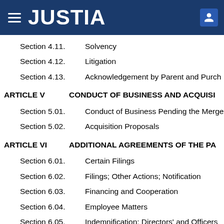JUSTIA
Section 4.11.    Solvency
Section 4.12.    Litigation
Section 4.13.    Acknowledgement by Parent and Purch
ARTICLE V    CONDUCT OF BUSINESS AND ACQUISI
Section 5.01.    Conduct of Business Pending the Merge
Section 5.02.    Acquisition Proposals
ARTICLE VI    ADDITIONAL AGREEMENTS OF THE PA
Section 6.01.    Certain Filings
Section 6.02.    Filings; Other Actions; Notification
Section 6.03.    Financing and Cooperation
Section 6.04.    Employee Matters
Section 6.05.    Indemnification; Directors' and Officers
Section 6.06.    Access and Reports; Confidentiality
Section 6.07.    Publicity